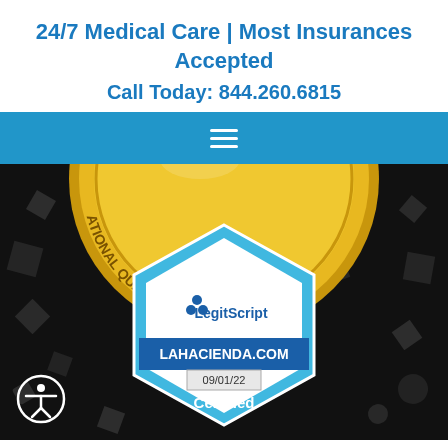24/7 Medical Care | Most Insurances Accepted
Call Today: 844.260.6815
[Figure (other): Navigation bar with hamburger menu icon on blue background]
[Figure (photo): Gold National Quality Approval seal medal on dark background with confetti pieces]
[Figure (logo): LegitScript certified badge for LAHACIENDA.COM 09/01/22 Certified, hexagonal blue badge]
[Figure (other): Accessibility icon - white figure in circle outline, bottom left]